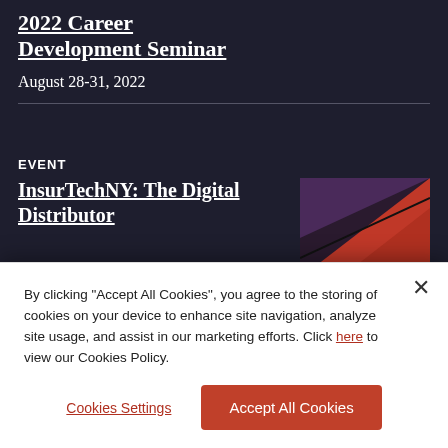2022 Career Development Seminar
August 28-31, 2022
EVENT
InsurTechNY: The Digital Distributor
[Figure (photo): Abstract geometric image with red/orange and purple triangle shapes against a dark background]
August 25, 2022
By clicking "Accept All Cookies", you agree to the storing of cookies on your device to enhance site navigation, analyze site usage, and assist in our marketing efforts. Click here to view our Cookies Policy.
Cookies Settings
Accept All Cookies